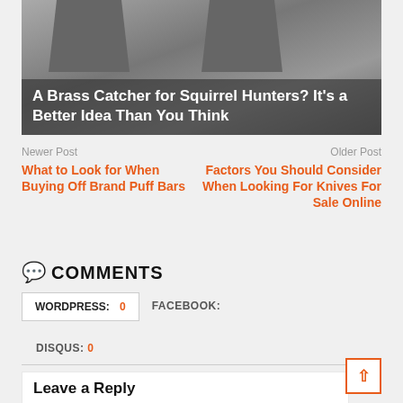[Figure (photo): Hero image showing brass catchers for firearms against a dark gray background, with overlaid white text title]
A Brass Catcher for Squirrel Hunters? It's a Better Idea Than You Think
Newer Post
What to Look for When Buying Off Brand Puff Bars
Older Post
Factors You Should Consider When Looking For Knives For Sale Online
COMMENTS
WORDPRESS: 0
FACEBOOK:
DISQUS: 0
Leave a Reply